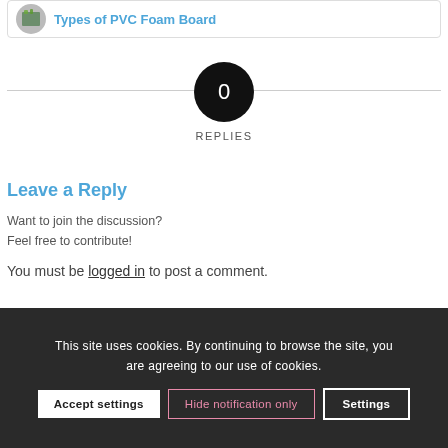[Figure (screenshot): Top card with circular image thumbnail and blue link text 'Types of PVC Foam Board']
0 REPLIES
Leave a Reply
Want to join the discussion?
Feel free to contribute!
You must be logged in to post a comment.
This site uses cookies. By continuing to browse the site, you are agreeing to our use of cookies.
Accept settings | Hide notification only | Settings